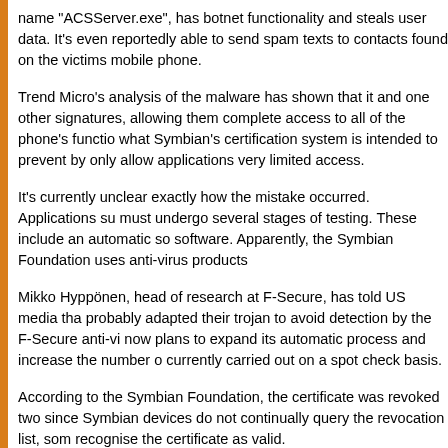name "ACSServer.exe", has botnet functionality and steals user data. It's even reportedly able to send spam texts to contacts found on the victims mobile phone.
Trend Micro's analysis of the malware has shown that it and one other signatures, allowing them complete access to all of the phone's functio... what Symbian's certification system is intended to prevent by only allow... applications very limited access.
It's currently unclear exactly how the mistake occurred. Applications su... must undergo several stages of testing. These include an automatic so... software. Apparently, the Symbian Foundation uses anti-virus products...
Mikko Hyppönen, head of research at F-Secure, has told US media tha... probably adapted their trojan to avoid detection by the F-Secure anti-vi... now plans to expand its automatic process and increase the number o... currently carried out on a spot check basis.
According to the Symbian Foundation, the certificate was revoked two... since Symbian devices do not continually query the revocation list, som... recognise the certificate as valid.
Update: Mikko Hyppönen has now published a Q&A on the F-Secure b... demonstrates how to enable revocation certificates on affected Symbia... setting is NOT to check for them.